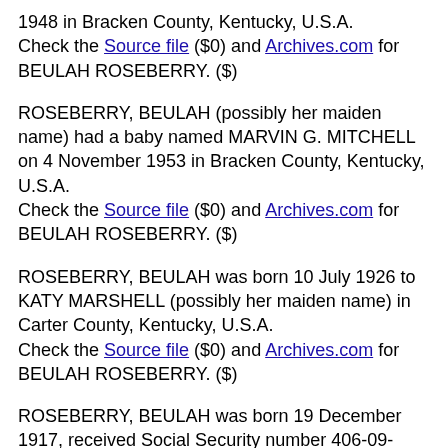1948 in Bracken County, Kentucky, U.S.A. Check the Source file ($0) and Archives.com for BEULAH ROSEBERRY. ($)
ROSEBERRY, BEULAH (possibly her maiden name) had a baby named MARVIN G. MITCHELL on 4 November 1953 in Bracken County, Kentucky, U.S.A. Check the Source file ($0) and Archives.com for BEULAH ROSEBERRY. ($)
ROSEBERRY, BEULAH was born 10 July 1926 to KATY MARSHELL (possibly her maiden name) in Carter County, Kentucky, U.S.A. Check the Source file ($0) and Archives.com for BEULAH ROSEBERRY. ($)
ROSEBERRY, BEULAH was born 19 December 1917, received Social Security number 406-09-5056 and, Death Master File says, died January 1982 Source: Death Master File (public domain). Check Archives.com for BEULAH ROSEBERRY. ($)